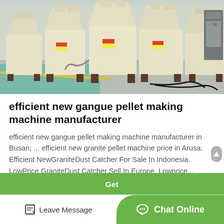[Figure (photo): Industrial factory floor showing multiple large cream/beige colored cone crusher machines lined up in a row inside a manufacturing facility with grey concrete floor and blue-tiled walls.]
efficient new gangue pellet making machine manufacturer
efficient new gangue pellet making machine manufacturer in Busan; ... efficient new granite pellet machine price in Arusa. Efficient NewGraniteDust Catcher For Sale In Indonesia. LowPrice GraniteDust Catcher Sell In Europe. Lowprice...